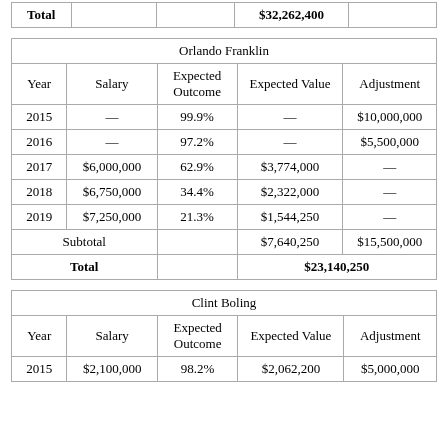|  |  |  | $32,262,400 |  |
| --- | --- | --- | --- | --- |
| Total |  |  | $32,262,400 |  |
| Year | Salary | Expected Outcome | Expected Value | Adjustment |
| --- | --- | --- | --- | --- |
| 2015 | — | 99.9% | — | $10,000,000 |
| 2016 | — | 97.2% | — | $5,500,000 |
| 2017 | $6,000,000 | 62.9% | $3,774,000 | — |
| 2018 | $6,750,000 | 34.4% | $2,322,000 | — |
| 2019 | $7,250,000 | 21.3% | $1,544,250 | — |
| Subtotal |  |  | $7,640,250 | $15,500,000 |
| Total |  |  | $23,140,250 |  |
| Year | Salary | Expected Outcome | Expected Value | Adjustment |
| --- | --- | --- | --- | --- |
| 2015 | $2,100,000 | 98.2% | $2,062,200 | $5,000,000 |